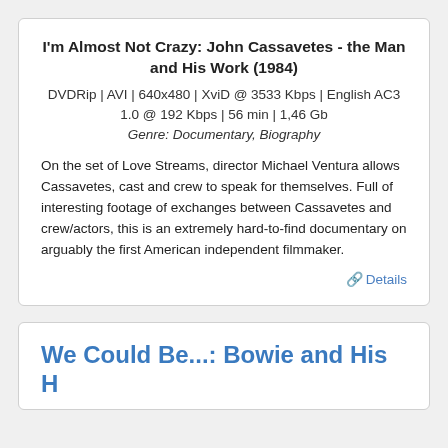I'm Almost Not Crazy: John Cassavetes - the Man and His Work (1984)
DVDRip | AVI | 640x480 | XviD @ 3533 Kbps | English AC3 1.0 @ 192 Kbps | 56 min | 1,46 Gb
Genre: Documentary, Biography
On the set of Love Streams, director Michael Ventura allows Cassavetes, cast and crew to speak for themselves. Full of interesting footage of exchanges between Cassavetes and crew/actors, this is an extremely hard-to-find documentary on arguably the first American independent filmmaker.
Details
We Could Be...: Bowie and His...